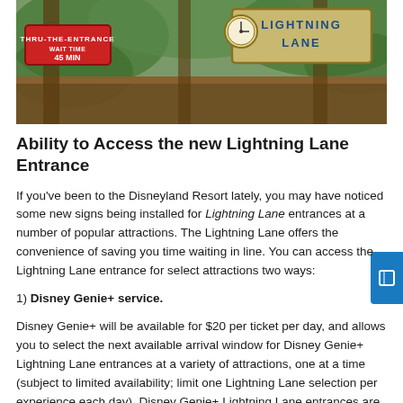[Figure (photo): Photo of a Disneyland Resort attraction entrance area with wooden beams/structure, showing a red 'ENTRANCE' sign on the left and a blue 'LIGHTNING LANE' sign with a clock on the right, surrounded by green foliage.]
Ability to Access the new Lightning Lane Entrance
If you've been to the Disneyland Resort lately, you may have noticed some new signs being installed for Lightning Lane entrances at a number of popular attractions. The Lightning Lane offers the convenience of saving you time waiting in line. You can access the Lightning Lane entrance for select attractions two ways:
1) Disney Genie+ service.
Disney Genie+ will be available for $20 per ticket per day, and allows you to select the next available arrival window for Disney Genie+ Lightning Lane entrances at a variety of attractions, one at a time (subject to limited availability; limit one Lightning Lane selection per experience each day). Disney Genie+ Lightning Lane entrances are available at select attractions at both Disneyland park and Disney California Adventure park – great for those who have Park